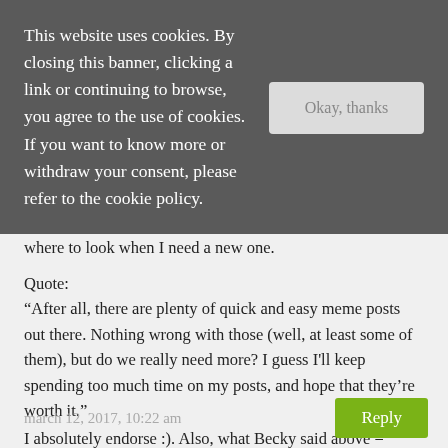This website uses cookies. By closing this banner, clicking a link or continuing to browse, you agree to the use of cookies. If you want to know more or withdraw your consent, please refer to the cookie policy.
Okay, thanks
the moment. And I set up subfolders as well, so I know where to look when I need a new one.
Quote:
“After all, there are plenty of quick and easy meme posts out there. Nothing wrong with those (well, at least some of them), but do we really need more? I guess I'll keep spending too much time on my posts, and hope that they're worth it.”
I absolutely endorse :). Also, what Becky said above = LOL, too true.
march 12, 2017, 10:22 am
Reply